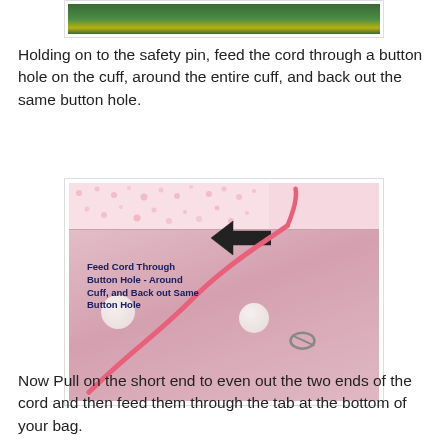[Figure (photo): Partial photo of fabric/craft project on green cutting mat, showing top portion cropped]
Holding on to the safety pin, feed the cord through a button hole on the cuff, around the entire cuff, and back out the same button hole.
[Figure (photo): Photo of pink fabric bag with polka-dot cuff and cartoon face prints. A pink cord is being threaded through a button hole. Text overlay reads: Feed Cord Through Button Hole - Around Cuff, and Back out Same Button Hole. An arrow points to the button hole entry point.]
Now Pull on the short end to even out the two ends of the cord and then feed them through the tab at the bottom of your bag.